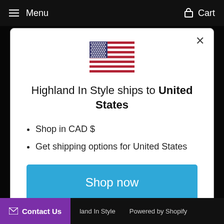Menu   Cart
[Figure (illustration): US flag emoji/icon centered in modal]
Highland In Style ships to United States
Shop in CAD $
Get shipping options for United States
Shop now
Change shipping country
Contact Us   Highland In Style   Powered by Shopify